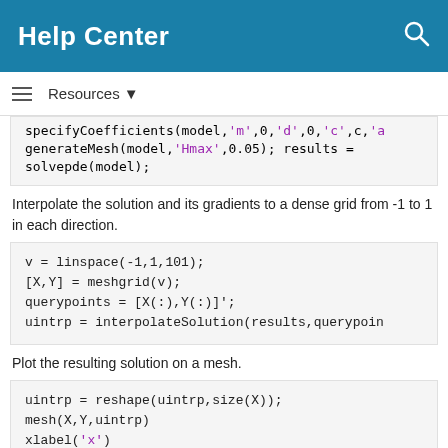Help Center
Resources
specifyCoefficients(model, 'm',0, 'd',0, 'c',c,'a
generateMesh(model, 'Hmax',0.05);
results = solvepde(model);
Interpolate the solution and its gradients to a dense grid from -1 to 1 in each direction.
v = linspace(-1,1,101);
[X,Y] = meshgrid(v);
querypoints = [X(:),Y(:)]';
uintrp = interpolateSolution(results,querypoints
Plot the resulting solution on a mesh.
uintrp = reshape(uintrp,size(X));
mesh(X,Y,uintrp)
xlabel('x')
ylabel('y')